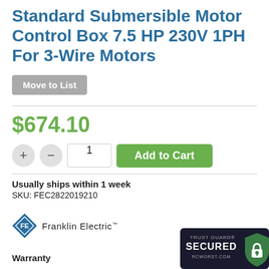Standard Submersible Motor Control Box 7.5 HP 230V 1PH For 3-Wire Motors
Move to List
$674.10
Usually ships within 1 week
SKU: FEC2822019210
[Figure (logo): Franklin Electric logo — diamond shaped icon with FE letters, followed by 'Franklin Electric' brand name text]
[Figure (logo): Trust Guard Secured badge — dark background with padlock icon, text: TRUST GUARD SECURED RCWORST.COM]
Warranty